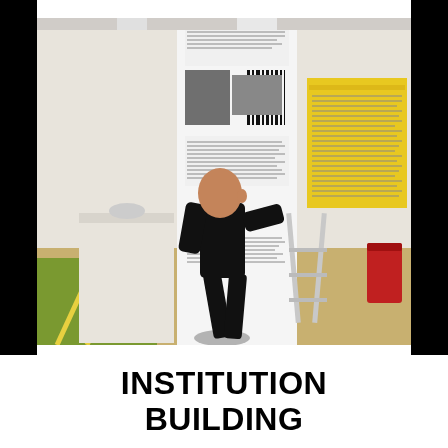[Figure (photo): A person dressed in black clothing pushing or moving a large white exhibition panel/banner in a gallery or museum space. The panel shows black and white photographs and text. In the background there are yellow exhibition boards with text, a step ladder, a white pedestal with an object on it, and a green painted floor with yellow lines. The setting appears to be an art exhibition installation.]
INSTITUTION BUILDING